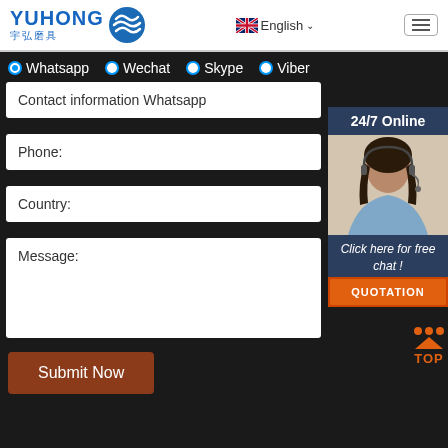[Figure (screenshot): Yuhong website header with logo, English language selector, and hamburger menu]
Whatsapp
Wechat
Skype
Viber
Contact information Whatsapp
Phone:
Country:
Message:
[Figure (infographic): 24/7 Online chat widget with customer service agent photo, 'Click here for free chat!' text, and QUOTATION button]
[Figure (other): TOP button icon with orange dots and triangle]
Submit Now